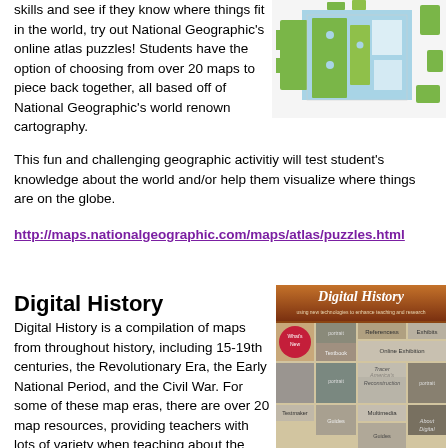skills and see if they know where things fit in the world, try out National Geographic's online atlas puzzles! Students have the option of choosing from over 20 maps to piece back together, all based off of National Geographic's world renown cartography. This fun and challenging geographic activitiy will test student's knowledge about the world and/or help them visualize where things are on the globe.
[Figure (screenshot): National Geographic atlas puzzle screenshot showing a world map puzzle with green land pieces on blue ocean background, partially assembled]
http://maps.nationalgeographic.com/maps/atlas/puzzles.html
Digital History
Digital History is a compilation of maps from throughout history, including 15-19th centuries, the Revolutionary Era, the Early National Period, and the Civil War. For some of these map eras, there are over 20 map resources, providing teachers with lots of variety when teaching about the world and how civilations mapped it through time. Digital History also provides other
[Figure (screenshot): Digital History website screenshot showing a brown header with 'Digital History' logo and a grid of historical images including portraits and historical photographs with navigation menu items]